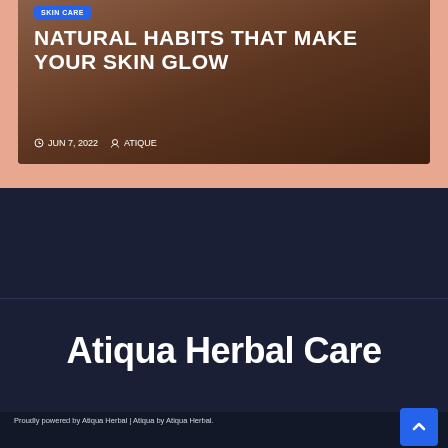[Figure (screenshot): Website card showing article about skin care with dark overlay, badge, title, and metadata]
NATURAL HABITS THAT MAKE YOUR SKIN GLOW
JUN 7, 2022  ATIQUE
Atiqua Herbal Care
Proudly powered by Atiqua Herbal | Atiqua by Atiqua Herbal.